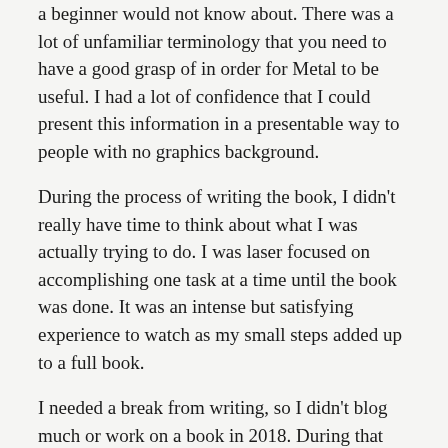a beginner would not know about. There was a lot of unfamiliar terminology that you need to have a good grasp of in order for Metal to be useful. I had a lot of confidence that I could present this information in a presentable way to people with no graphics background.
During the process of writing the book, I didn't really have time to think about what I was actually trying to do. I was laser focused on accomplishing one task at a time until the book was done. It was an intense but satisfying experience to watch as my small steps added up to a full book.
I needed a break from writing, so I didn't blog much or work on a book in 2018. During that year, I had some time to think. And the thoughts I had weren't very pleasant.
When I completed the book I was proud of what I was able to accomplish in the time I had available. I felt that it would take two years to write a good book on Metal. I had about ten